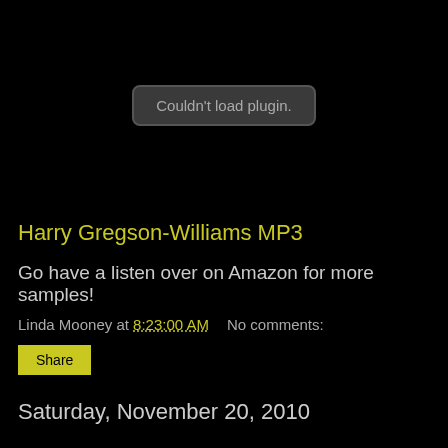[Figure (other): Embedded plugin area showing 'Couldn't load plugin.' error message in a rounded dark box on black background]
Harry Gregson-Williams MP3
Go have a listen over on Amazon for more samples!
Linda Mooney at 8:23:00 AM    No comments:
Share
Saturday, November 20, 2010